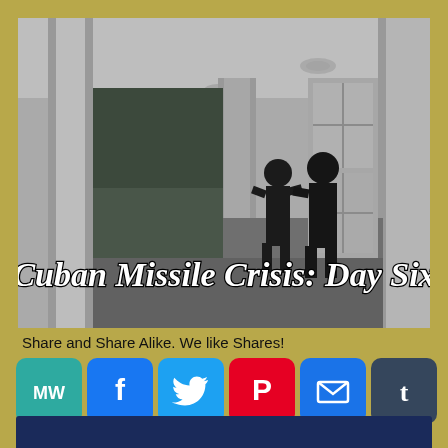[Figure (photo): Black and white photograph of two people in suits standing on a White House colonnade/portico, with columns and trees visible. Text overlay reads 'Cuban Missile Crisis: Day Six' in bold italic serif font.]
Share and Share Alike. We like Shares!
[Figure (infographic): Row of social media sharing icons: MeWe (teal), Facebook (blue), Twitter (blue), Pinterest (red), Email (blue), Tumblr (dark blue), Reddit (orange), LinkedIn (blue), WhatsApp (green), Blogger (orange). Second row: Messenger (blue), Gmail (red), WordPress (gray), More/Plus (blue).]